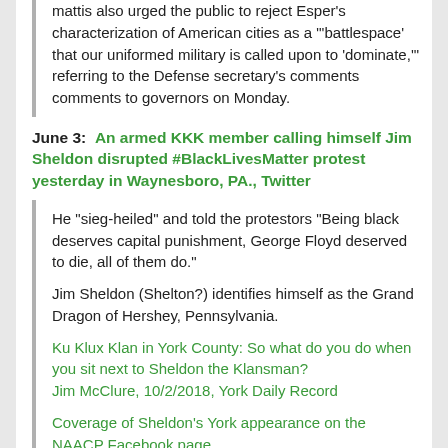Mattis also urged the public to reject Esper's characterization of American cities as a "'battlespace' that our uniformed military is called upon to 'dominate,'" referring to the Defense secretary's comments comments to governors on Monday.
June 3:  An armed KKK member calling himself Jim Sheldon disrupted #BlackLivesMatter protest yesterday in Waynesboro, PA., Twitter
He "sieg-heiled" and told the protestors "Being black deserves capital punishment, George Floyd deserved to die, all of them do."
Jim Sheldon (Shelton?) identifies himself as the Grand Dragon of Hershey, Pennsylvania.
Ku Klux Klan in York County: So what do you do when you sit next to Sheldon the Klansman? Jim McClure, 10/2/2018, York Daily Record
Coverage of Sheldon's York appearance on the NAACP Facebook page